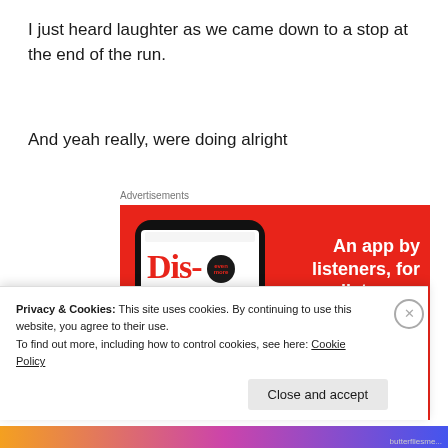I just heard laughter as we came down to a stop at the end of the run.
And yeah really, were doing alright
Advertisements
[Figure (screenshot): Red advertisement banner for a podcast/music app showing a phone with 'Distributed' text and the tagline 'An app by listeners, for listeners.' with a Download now button.]
Privacy & Cookies: This site uses cookies. By continuing to use this website, you agree to their use.
To find out more, including how to control cookies, see here: Cookie Policy
Close and accept